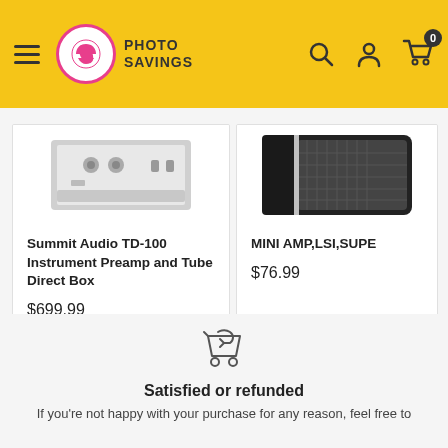Photo Savings - header navigation with hamburger menu, logo, search, account, and cart icons
[Figure (photo): Product image of Summit Audio TD-100 Instrument Preamp and Tube Direct Box]
Summit Audio TD-100 Instrument Preamp and Tube Direct Box
$699.99
[Figure (photo): Product image of MINI AMP, LSI, SUPER (partially visible)]
MINI AMP,LSI,SUPER
$76.99
[Figure (illustration): Return/refund cart icon with arrow]
Satisfied or refunded
If you're not happy with your purchase for any reason, feel free to